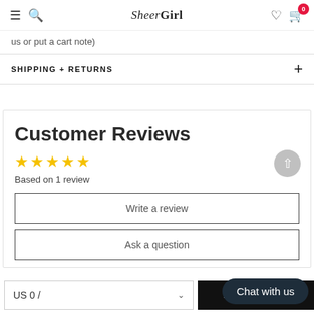SheerGirl — navigation bar with hamburger, search, logo, user, cart (0)
us or put a cart note)
SHIPPING + RETURNS
Customer Reviews
★★★★★ Based on 1 review
Write a review
Ask a question
US 0 /
ADD TO CART
Chat with us